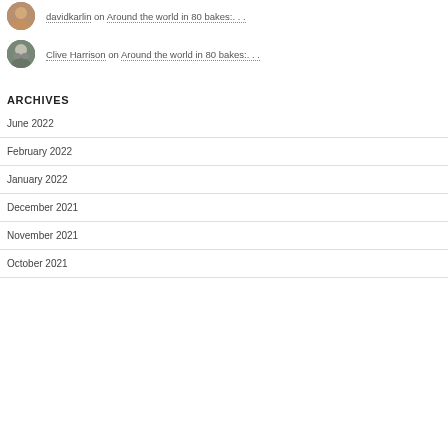davidkarlin on Around the world in 80 bakes:…
Clive Harrison on Around the world in 80 bakes:…
ARCHIVES
June 2022
February 2022
January 2022
December 2021
November 2021
October 2021